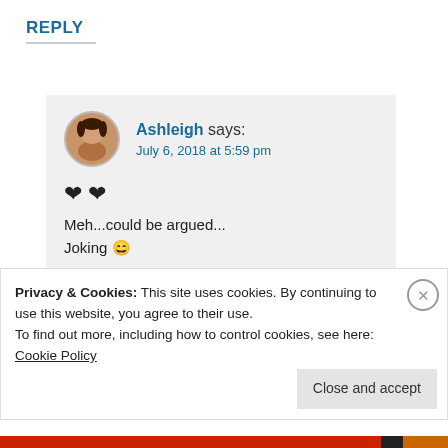REPLY
Ashleigh says:
July 6, 2018 at 5:59 pm
❤❤
Meh...could be argued...
Joking 😄
★ Liked by 1 person
Privacy & Cookies: This site uses cookies. By continuing to use this website, you agree to their use.
To find out more, including how to control cookies, see here: Cookie Policy
Close and accept